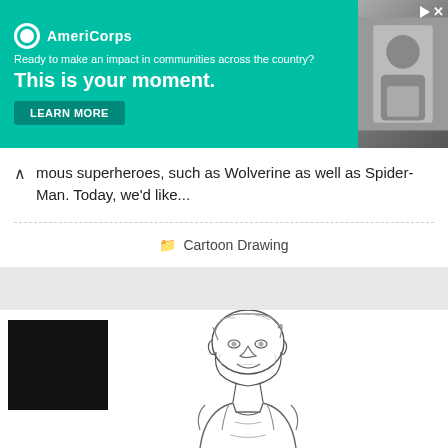[Figure (screenshot): AmeriCorps advertisement banner with teal background. Logo with circle icon and 'AmeriCorps' text. Tagline: 'Ready to make an impact in communities across the country?' Headline: 'This is your moment.' with 'LEARN MORE' button. Right side shows a photo of a person.]
mous superheroes, such as Wolverine as well as Spider-Man. Today, we'd like...
Cartoon Drawing
[Figure (illustration): Pencil sketch / line drawing of a young person (cartoon style) with short hair, smiling, wearing a sleeveless top or vest. Upper body portrait. Black rectangle overlay in top-left corner obscuring part of the image.]